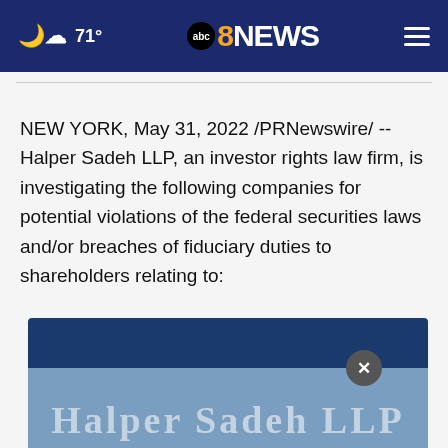71° abc8NEWS
NEW YORK, May 31, 2022 /PRNewswire/ -- Halper Sadeh LLP, an investor rights law firm, is investigating the following companies for potential violations of the federal securities laws and/or breaches of fiduciary duties to shareholders relating to:
[Figure (other): Partially visible advertisement or modal overlay showing Halper Sadeh LLP branding with a close (X) button, blue gradient background]